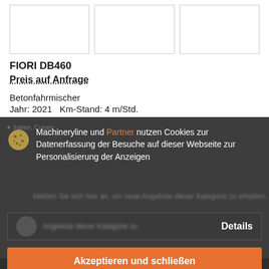[Figure (photo): Three image placeholders in a row for product photos]
FIORI DB460
Preis auf Anfrage
Betonfahrmischer
Jahr: 2021   Km-Stand: 4 m/Std.
Machineryline und Partner nutzen Cookies zur Datenerfassung der Besuche auf dieser Webseite zur Personalisierung der Anzeigen
Details
Akzeptieren und schließen